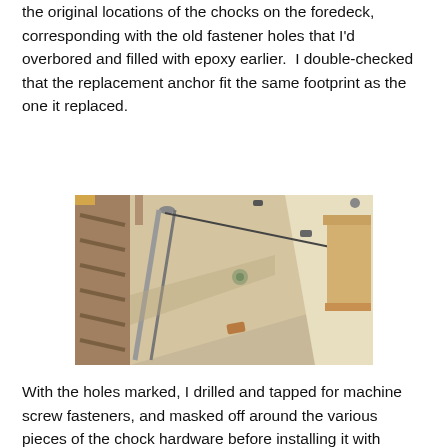the original locations of the chocks on the foredeck, corresponding with the old fastener holes that I'd overbored and filled with epoxy earlier.  I double-checked that the replacement anchor fit the same footprint as the one it replaced.
[Figure (photo): Aerial view of a sailboat foredeck under construction or repair, showing the sloping deck surface, a metal stanchion/rail, hardware fittings, and wooden framework in a workshop setting.]
With the holes marked, I drilled and tapped for machine screw fasteners, and masked off around the various pieces of the chock hardware before installing it with